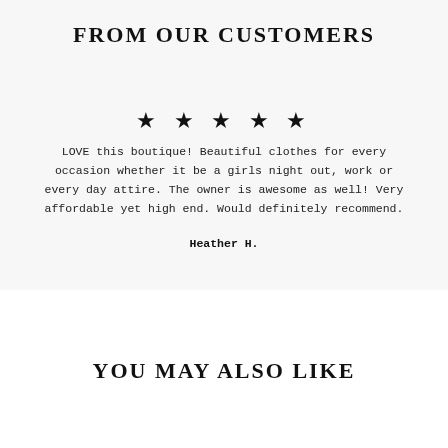FROM OUR CUSTOMERS
★ ★ ★ ★ ★
LOVE this boutique! Beautiful clothes for every occasion whether it be a girls night out, work or every day attire. The owner is awesome as well! Very affordable yet high end. Would definitely recommend.
Heather H.
YOU MAY ALSO LIKE